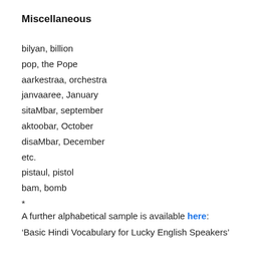Miscellaneous
bilyan, billion
pop, the Pope
aarkestraa, orchestra
janvaaree, January
sitaMbar, september
aktoobar, October
disaMbar, December
etc.
pistaul, pistol
bam, bomb
*
A further alphabetical sample is available here: ‘Basic Hindi Vocabulary for Lucky English Speakers’